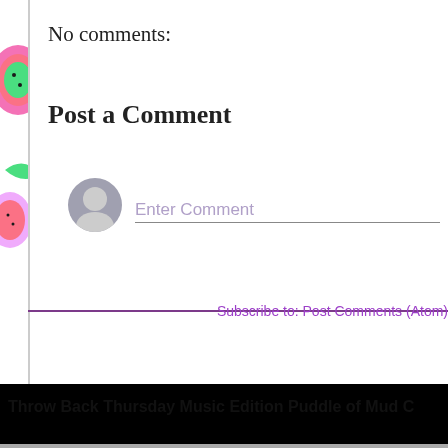[Figure (illustration): Colorful fruit pattern background with watermelons, pineapples, and tropical fruits on white background]
No comments:
Post a Comment
[Figure (illustration): Gray avatar/user icon circle]
Enter Comment
[Figure (illustration): Black redacted bar]
Subscribe to: Post Comments (Atom)
Throw Back Thursday Music Edition Puddle of Mud C